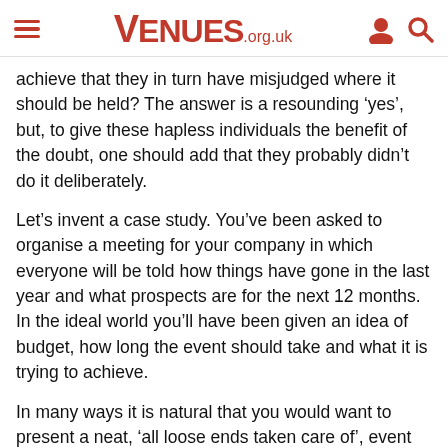VENUES.org.uk
achieve that they in turn have misjudged where it should be held? The answer is a resounding ‘yes’, but, to give these hapless individuals the benefit of the doubt, one should add that they probably didn’t do it deliberately.
Let’s invent a case study. You’ve been asked to organise a meeting for your company in which everyone will be told how things have gone in the last year and what prospects are for the next 12 months. In the ideal world you’ll have been given an idea of budget, how long the event should take and what it is trying to achieve.
In many ways it is natural that you would want to present a neat, ‘all loose ends taken care of’, event that does what was asked of it and which may even come in under the budget you were given. This approach, however, could easily lead you to do some very obvious